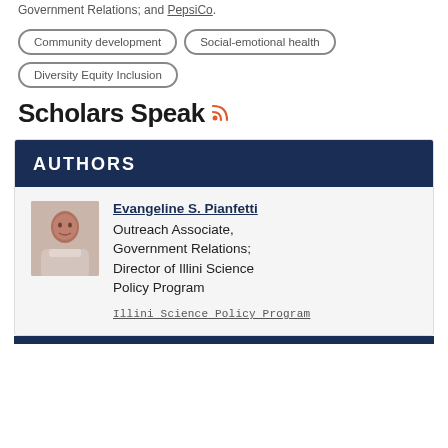Government Relations; and PepsiCo.
Community development
Social-emotional health
Diversity Equity Inclusion
Scholars Speak
AUTHORS
Evangeline S. Pianfetti
Outreach Associate, Government Relations; Director of Illini Science Policy Program
Illini Science Policy Program